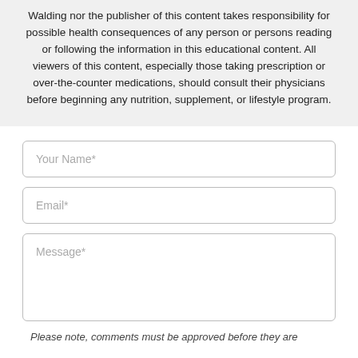Walding nor the publisher of this content takes responsibility for possible health consequences of any person or persons reading or following the information in this educational content. All viewers of this content, especially those taking prescription or over-the-counter medications, should consult their physicians before beginning any nutrition, supplement, or lifestyle program.
Your Name*
Email*
Message*
Please note, comments must be approved before they are